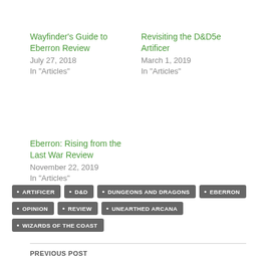Wayfinder's Guide to Eberron Review
July 27, 2018
In "Articles"
Revisiting the D&D5e Artificer
March 1, 2019
In "Articles"
Eberron: Rising from the Last War Review
November 22, 2019
In "Articles"
ARTIFICER
D&D
DUNGEONS AND DRAGONS
EBERRON
OPINION
REVIEW
UNEARTHED ARCANA
WIZARDS OF THE COAST
PREVIOUS POST